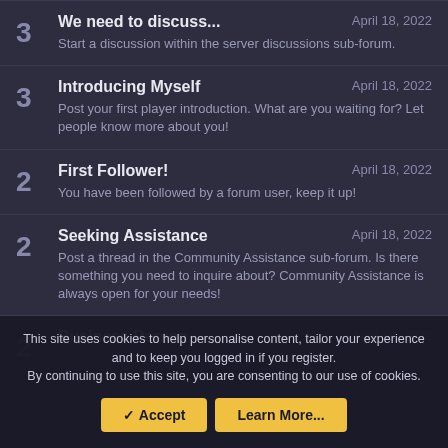3 | We need to discuss... | April 18, 2022 | Start a discussion within the server discussions sub-forum.
3 | Introducing Myself | April 18, 2022 | Post your first player introduction. What are you waiting for? Let people know more about you!
2 | First Follower! | April 18, 2022 | You have been followed by a forum user, keep it up!
2 | Seeking Assistance | April 18, 2022 | Post a thread in the Community Assistance sub-forum. Is there something you need to inquire about? Community Assistance is always open for your needs!
2 | Business Person | April 18, 2022
This site uses cookies to help personalise content, tailor your experience and to keep you logged in if you register. By continuing to use this site, you are consenting to our use of cookies.